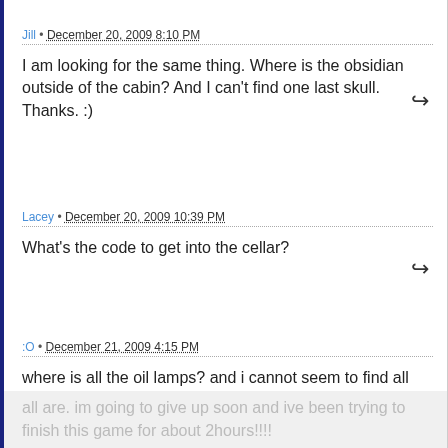Jill • December 20, 2009 8:10 PM
I am looking for the same thing. Where is the obsidian outside of the cabin? And I can't find one last skull. Thanks. :)
Lacey • December 20, 2009 10:39 PM
What's the code to get into the cellar?
:O • December 21, 2009 4:15 PM
where is all the oil lamps? and i cannot seem to find all the skulls even though i read where they all are. im going to give up soon and ive been trying to finish this game for about 2hours!!!!